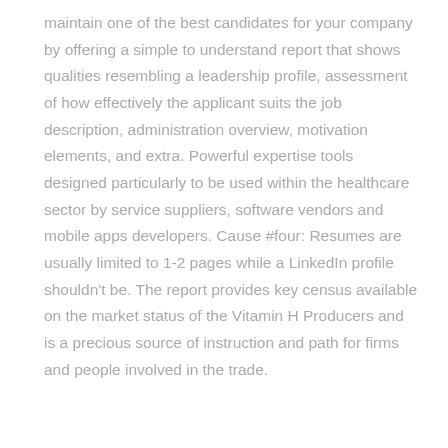maintain one of the best candidates for your company by offering a simple to understand report that shows qualities resembling a leadership profile, assessment of how effectively the applicant suits the job description, administration overview, motivation elements, and extra. Powerful expertise tools designed particularly to be used within the healthcare sector by service suppliers, software vendors and mobile apps developers. Cause #four: Resumes are usually limited to 1-2 pages while a LinkedIn profile shouldn't be. The report provides key census available on the market status of the Vitamin H Producers and is a precious source of instruction and path for firms and people involved in the trade.